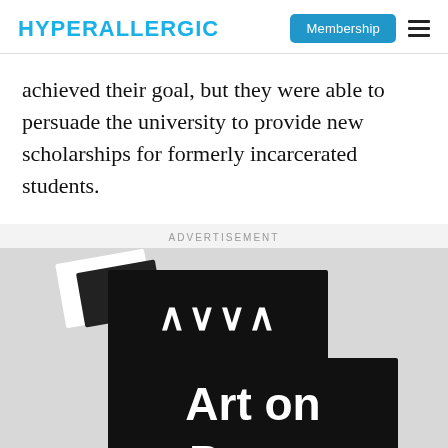HYPERALLERGIC | Membership
achieved their goal, but they were able to persuade the university to provide new scholarships for formerly incarcerated students.
ADVERTISEMENT
[Figure (photo): Advertisement image for 'Art on Paper' with a black rectangular logo containing stylized wave marks (MWM) on a light grey background, and a large black rectangle with bold white text reading 'Art on Paper']